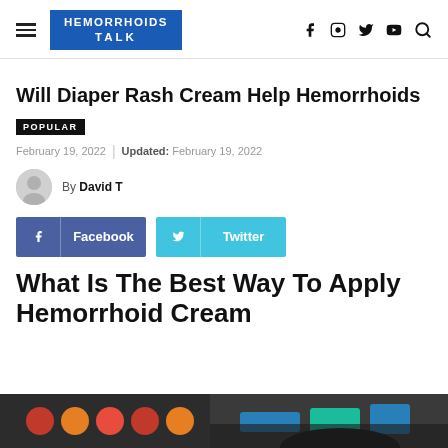HEMORRHOIDS TALK
Will Diaper Rash Cream Help Hemorrhoids
POPULAR
February 19, 2022 | Updated: February 19, 2022
By David T
Facebook
Twitter
What Is The Best Way To Apply Hemorrhoid Cream
[Figure (photo): Colorful items on a shelf, partial view of a person]